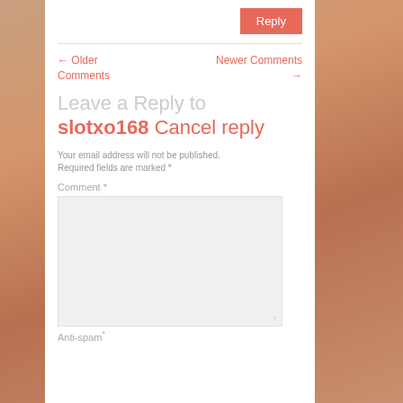Reply
← Older Comments
Newer Comments →
Leave a Reply to slotxo168 Cancel reply
Your email address will not be published. Required fields are marked *
Comment *
Anti-spam*